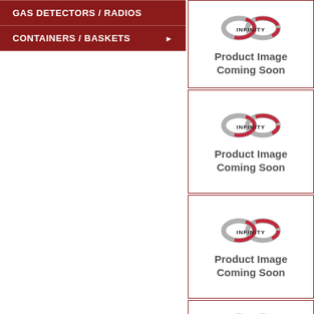GAS DETECTORS / RADIOS
CONTAINERS / BASKETS
[Figure (logo): Infinity logo with Product Image Coming Soon text - card 1]
[Figure (logo): Infinity logo with Product Image Coming Soon text - card 2]
[Figure (logo): Infinity logo with Product Image Coming Soon text - card 3]
[Figure (logo): Infinity logo with Product Image Coming Soon text - card 4 (partial)]